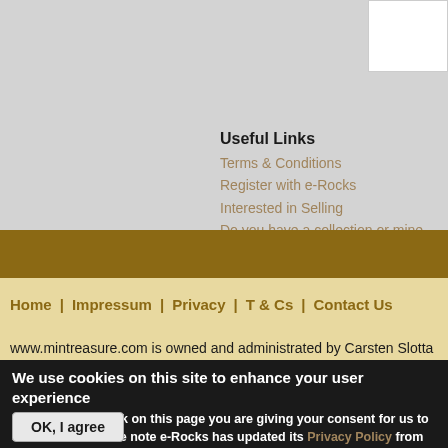Useful Links
Terms & Conditions
Register with e-Rocks
Interested in Selling
Do you have a collection or mine...
Home | Impressum | Privacy | T & Cs | Contact Us
www.mintreasure.com is owned and administrated by Carsten Slotta M...
Registered in Germany.
Registered for VAT in D. no: DE263063505
We use cookies on this site to enhance your user experience
By clicking any link on this page you are giving your consent for us to set cookies. Please note e-Rocks has updated its Privacy Policy from 11th July 2015 No, give me more info
OK, I agree